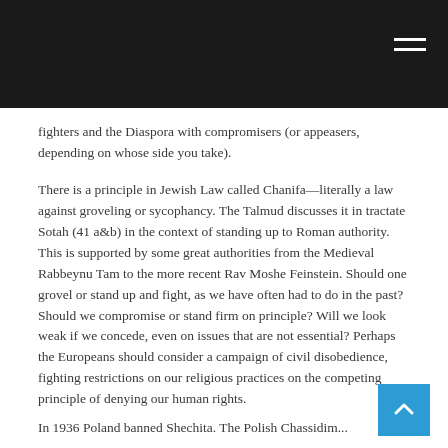fighters and the Diaspora with compromisers (or appeasers, depending on whose side you take).
There is a principle in Jewish Law called Chanifa—literally a law against groveling or sycophancy. The Talmud discusses it in tractate Sotah (41 a&b) in the context of standing up to Roman authority. This is supported by some great authorities from the Medieval Rabbeynu Tam to the more recent Rav Moshe Feinstein. Should one grovel or stand up and fight, as we have often had to do in the past? Should we compromise or stand firm on principle? Will we look weak if we concede, even on issues that are not essential? Perhaps the Europeans should consider a campaign of civil disobedience, fighting restrictions on our religious practices on the competing principle of denying our human rights.
In 1936 Poland banned Shechita. The Polish Chassidim...